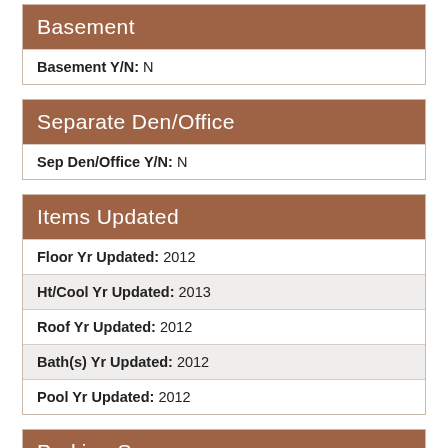Basement
| Basement Y/N: N |
Separate Den/Office
| Sep Den/Office Y/N: N |
Items Updated
| Floor Yr Updated: 2012 |
| Ht/Cool Yr Updated: 2013 |
| Roof Yr Updated: 2012 |
| Bath(s) Yr Updated: 2012 |
| Pool Yr Updated: 2012 |
Parking Spaces